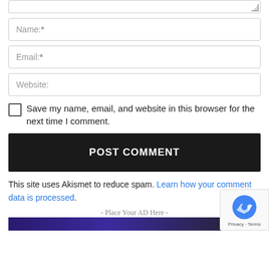[Figure (screenshot): Bottom of a textarea input field with resize handle]
Name:*
Email:*
Website:
Save my name, email, and website in this browser for the next time I comment.
POST COMMENT
This site uses Akismet to reduce spam. Learn how your comment data is processed.
- Place Your AD Here -
[Figure (screenshot): Ad image banner at bottom, dark purple/blue gradient]